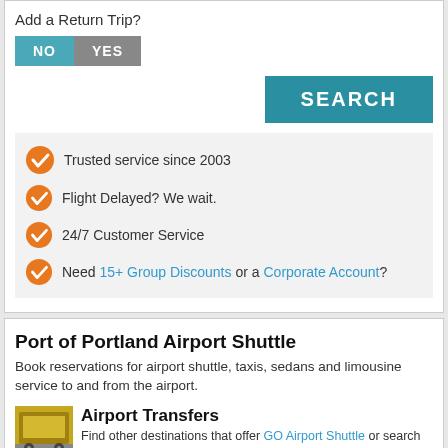Add a Return Trip?
NO  YES
SEARCH
Trusted service since 2003
Flight Delayed? We wait.
24/7 Customer Service
Need 15+ Group Discounts or a Corporate Account?
Port of Portland Airport Shuttle
Book reservations for airport shuttle, taxis, sedans and limousine service to and from the airport.
Airport Transfers
Find other destinations that offer GO Airport Shuttle or search for other transportation providers at Port of Portland airport.
[Figure (photo): Thumbnail image of airport taxi/shuttle]